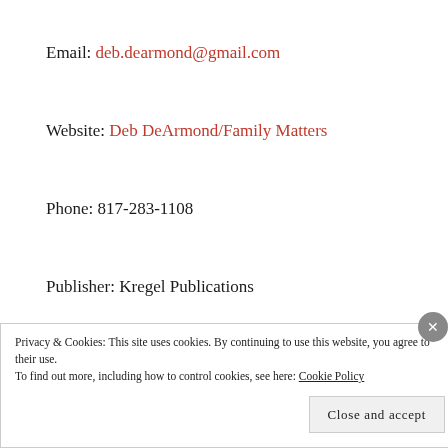Email: deb.dearmond@gmail.com
Website: Deb DeArmond/Family Matters
Phone: 817-283-1108
Publisher: Kregel Publications
Member: AWSA, ACFW, Christian Writer's Guild, CLASSeminar Graduate
Privacy & Cookies: This site uses cookies. By continuing to use this website, you agree to their use. To find out more, including how to control cookies, see here: Cookie Policy
Close and accept